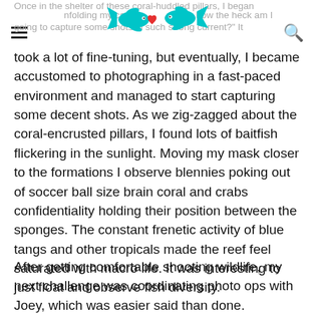Once in the shelter of these coral-huddled pillars, I began unfolding my cam... how the heck am I going to capture some shots in such strong current?"
[Figure (logo): Teal/cyan stylized fish or sea creature logo with a red heart accent, website logo]
It took a lot of fine-tuning, but eventually, I became accustomed to photographing in a fast-paced environment and managed to start capturing some decent shots. As we zig-zagged about the coral-encrusted pillars, I found lots of baitfish flickering in the sunlight. Moving my mask closer to the formations I observe blennies poking out of soccer ball size brain coral and crabs confidentiality holding their position between the sponges. The constant frenetic activity of blue tangs and other tropicals made the reef feel saturated with macro life. It was interesting to just float and observe fish diversity.
After getting comfortable shooting wildlife, my next challenge was coordinating photo ops with Joey, which was easier said than done.